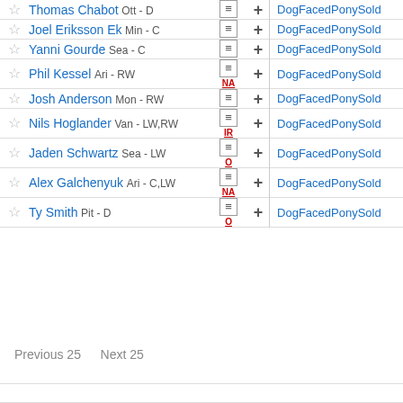|  | Player | Icons | Add |  | Owner |
| --- | --- | --- | --- | --- | --- |
| ☆ | Thomas Chabot Ott - D | ≡ | + |  | DogFacedPonySold |
| ☆ | Joel Eriksson Ek Min - C | ≡ | + |  | DogFacedPonySold |
| ☆ | Yanni Gourde Sea - C | ≡ | + |  | DogFacedPonySold |
| ☆ | Phil Kessel Ari - RW [NA] | ≡ | + |  | DogFacedPonySold |
| ☆ | Josh Anderson Mon - RW | ≡ | + |  | DogFacedPonySold |
| ☆ | Nils Hoglander Van - LW,RW [IR] | ≡ | + |  | DogFacedPonySold |
| ☆ | Jaden Schwartz Sea - LW [O] | ≡ | + |  | DogFacedPonySold |
| ☆ | Alex Galchenyuk Ari - C,LW [NA] | ≡ | + |  | DogFacedPonySold |
| ☆ | Ty Smith Pit - D [O] | ≡ | + |  | DogFacedPonySold |
Previous 25    Next 25